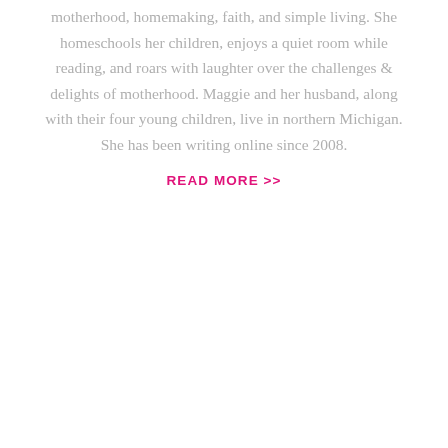motherhood, homemaking, faith, and simple living. She homeschools her children, enjoys a quiet room while reading, and roars with laughter over the challenges & delights of motherhood. Maggie and her husband, along with their four young children, live in northern Michigan. She has been writing online since 2008.
READ MORE >>